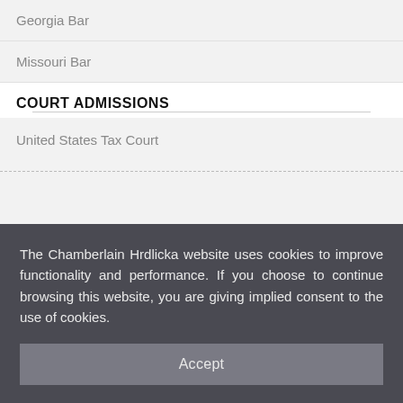Georgia Bar
Missouri Bar
COURT ADMISSIONS
United States Tax Court
The Chamberlain Hrdlicka website uses cookies to improve functionality and performance. If you choose to continue browsing this website, you are giving implied consent to the use of cookies.
Accept